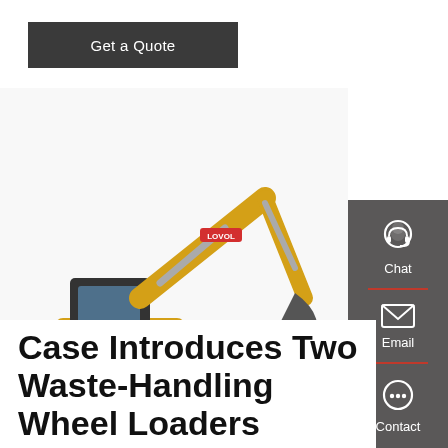Get a Quote
[Figure (photo): Yellow Lovol tracked mini excavator on white background, shown in profile view with arm extended and bucket lowered]
[Figure (infographic): Gray sidebar with Chat (headset icon), Email (envelope icon), and Contact (speech bubble icon) options, separated by red dividers]
Case Introduces Two Waste-Handling Wheel Loaders